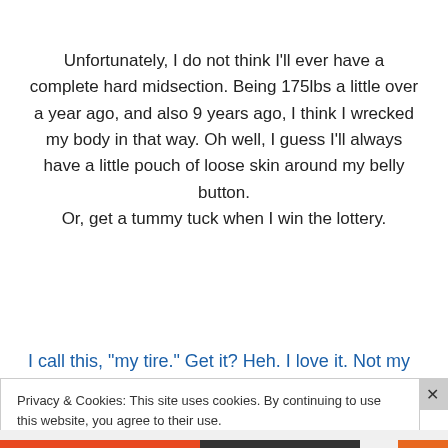Unfortunately, I do not think I'll ever have a complete hard midsection. Being 175lbs a little over a year ago, and also 9 years ago, I think I wrecked my body in that way. Oh well, I guess I'll always have a little pouch of loose skin around my belly button.
Or, get a tummy tuck when I win the lottery.
I call this, "my tire." Get it? Heh. I love it. Not my stomach,
Privacy & Cookies: This site uses cookies. By continuing to use this website, you agree to their use.
To find out more, including how to control cookies, see here: Cookie Policy